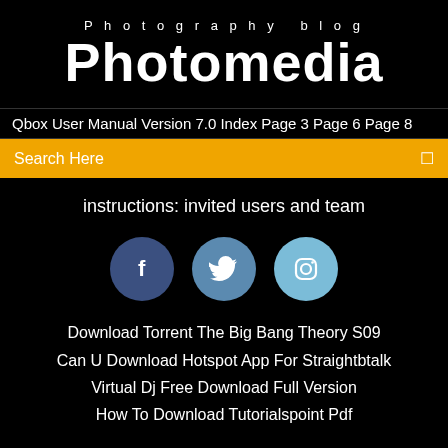Photography blog
Photomedia
Qbox User Manual Version 7.0 Index Page 3 Page 6 Page 8
Search Here
instructions: invited users and team
[Figure (infographic): Three social media icons: Facebook (dark blue circle), Twitter (medium blue circle), Instagram (light blue circle)]
Download Torrent The Big Bang Theory S09
Can U Download Hotspot App For Straightbtalk
Virtual Dj Free Download Full Version
How To Download Tutorialspoint Pdf